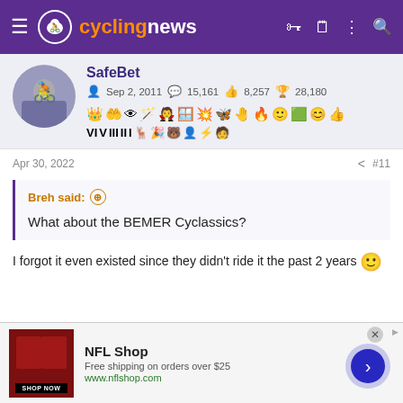cyclingnews
SafeBet · Sep 2, 2011 · 15,161 · 8,257 · 28,180
Apr 30, 2022 #11
Breh said: ⊕
What about the BEMER Cyclassics?
I forgot it even existed since they didn't ride it the past 2 years 🙂
[Figure (screenshot): NFL Shop advertisement banner with red shorts, 'SHOP NOW' button, free shipping offer and www.nflshop.com URL]